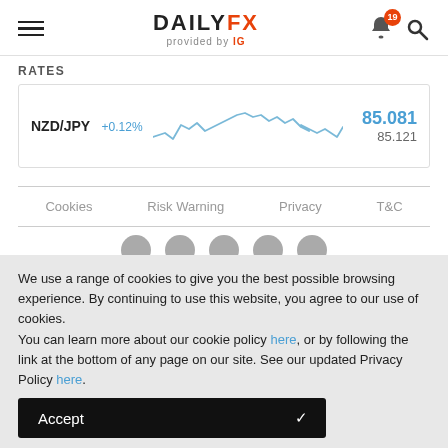DAILYFX provided by IG
RATES
[Figure (line-chart): NZD/JPY intraday line chart showing fluctuating price around 85.081, with current bid 85.081 and ask 85.121]
Cookies | Risk Warning | Privacy | T&C
We use a range of cookies to give you the best possible browsing experience. By continuing to use this website, you agree to our use of cookies.
You can learn more about our cookie policy here, or by following the link at the bottom of any page on our site. See our updated Privacy Policy here.
Accept